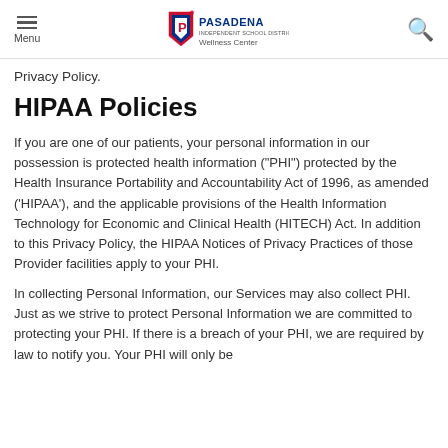Menu | Pasadena Independent School District Wellness Center
Privacy Policy.
HIPAA Policies
If you are one of our patients, your personal information in our possession is protected health information ("PHI") protected by the Health Insurance Portability and Accountability Act of 1996, as amended ('HIPAA'), and the applicable provisions of the Health Information Technology for Economic and Clinical Health (HITECH) Act. In addition to this Privacy Policy, the HIPAA Notices of Privacy Practices of those Provider facilities apply to your PHI.
In collecting Personal Information, our Services may also collect PHI. Just as we strive to protect Personal Information we are committed to protecting your PHI. If there is a breach of your PHI, we are required by law to notify you. Your PHI will only be